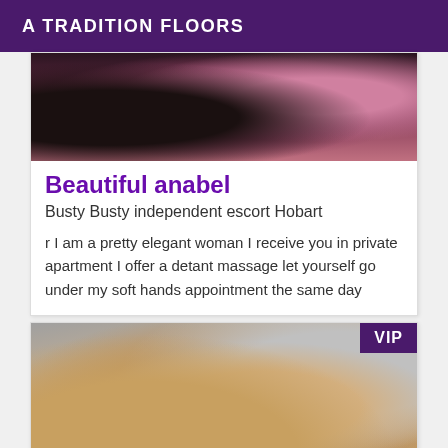A TRADITION FLOORS
[Figure (photo): Close-up photo of a woman with curly dark hair, pink/warm tones]
Beautiful anabel
Busty Busty independent escort Hobart
r I am a pretty elegant woman I receive you in private apartment I offer a detant massage let yourself go under my soft hands appointment the same day
[Figure (photo): Photo of a woman in a gray dress with VIP badge in top-right corner]